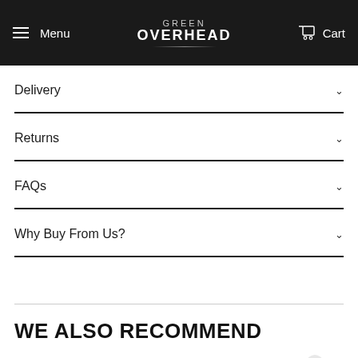Menu | GREEN OVERHEAD | Cart
Delivery
Returns
FAQs
Why Buy From Us?
WE ALSO RECOMMEND
[Figure (other): Feefo Reviews badge with yellow eyes, shown over product images at the bottom of the page]